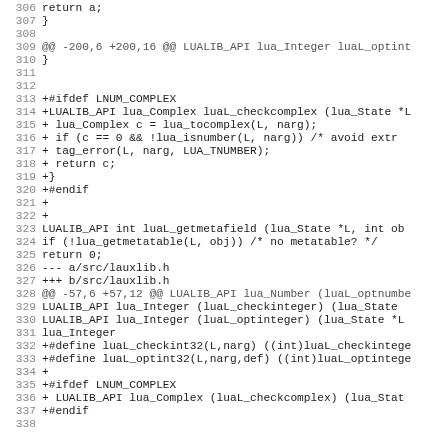Code diff showing changes to Lua auxiliary library files, lines 306-338
306: return a;
307: }
308:
309: @@ -200,6 +200,16 @@ LUALIB_API lua_Integer luaL_optint
310: }
311:
312:
313: +#ifdef LNUM_COMPLEX
314: +LUALIB_API lua_Complex luaL_checkcomplex (lua_State *L
315: +  lua_Complex c = lua_tocomplex(L, narg);
316: +  if (c == 0 && !lua_isnumber(L, narg))  /* avoid extr
317: +    tag_error(L, narg, LUA_TNUMBER);
318: +  return c;
319: +}
320: +#endif
321: +
322: +
323:  LUALIB_API int luaL_getmetafield (lua_State *L, int ob
324:    if (!lua_getmetatable(L, obj))  /* no metatable? */
325:    return 0;
326: --- a/src/lauxlib.h
327: +++ b/src/lauxlib.h
328: @@ -57,6 +57,12 @@ LUALIB_API lua_Number (luaL_optnumbe
329:  LUALIB_API lua_Integer (luaL_checkinteger) (lua_State
330:  LUALIB_API lua_Integer (luaL_optinteger) (lua_State *L
331:                                               lua_Integer
332: +#define luaL_checkint32(L,narg) ((int)luaL_checkintege
333: +#define luaL_optint32(L,narg,def) ((int)luaL_optintege
334: +
335: +#ifdef LNUM_COMPLEX
336: +  LUALIB_API lua_Complex (luaL_checkcomplex) (lua_Stat
337: +#endif
338: